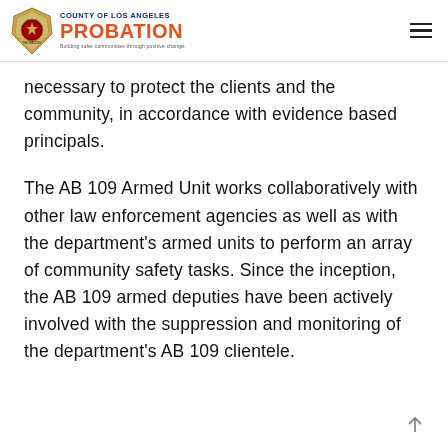County of Los Angeles Probation — Building safer communities through positive change
necessary to protect the clients and the community, in accordance with evidence based principals.
The AB 109 Armed Unit works collaboratively with other law enforcement agencies as well as with the department's armed units to perform an array of community safety tasks. Since the inception, the AB 109 armed deputies have been actively involved with the suppression and monitoring of the department's AB 109 clientele.